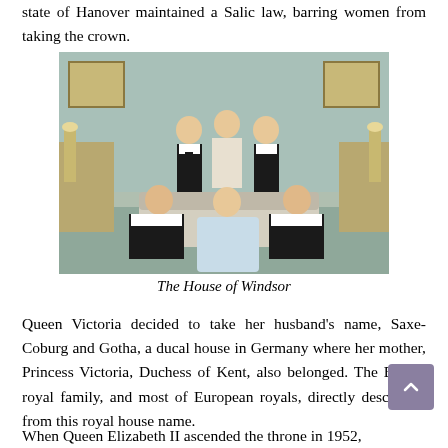state of Hanover maintained a Salic law, barring women from taking the crown.
[Figure (photo): A formal royal family portrait showing five people in formal attire seated and standing in an ornate room. The Queen is seated in the center in a light blue gown, Prince Philip to her right, Prince Charles to her left. Three figures stand behind them.]
The House of Windsor
Queen Victoria decided to take her husband's name, Saxe-Coburg and Gotha, a ducal house in Germany where her mother, Princess Victoria, Duchess of Kent, also belonged. The British royal family, and most of European royals, directly descended from this royal house name.
When Queen Elizabeth II ascended the throne in 1952,